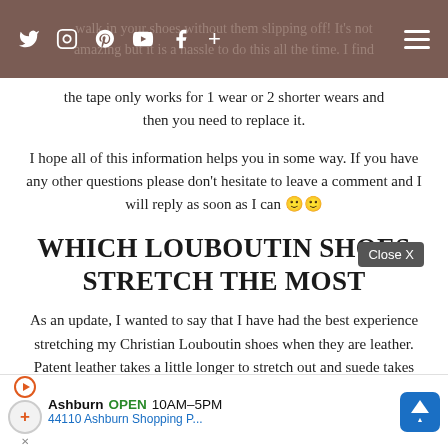Navigation bar with social media icons (Twitter, Instagram, Pinterest, YouTube, Facebook, Plus) and hamburger menu
walk in your shoes without them slipping off! It's not amazing but it is a hassle to do this all the time. I find the tape only works for 1 wear or 2 shorter wears and then you need to replace it.
I hope all of this information helps you in some way. If you have any other questions please don't hesitate to leave a comment and I will reply as soon as I can 🙂🙂
WHICH LOUBOUTIN SHOES STRETCH THE MOST
As an update, I wanted to say that I have had the best experience stretching my Christian Louboutin shoes when they are leather. Patent leather takes a little longer to stretch out and suede takes even longer again, so you definitely have to be patient. Please also take a look at the comments below as there are hundreds of questions being answered. If you have a question that you don't see answered, let me know, you might find others have the same issue too!